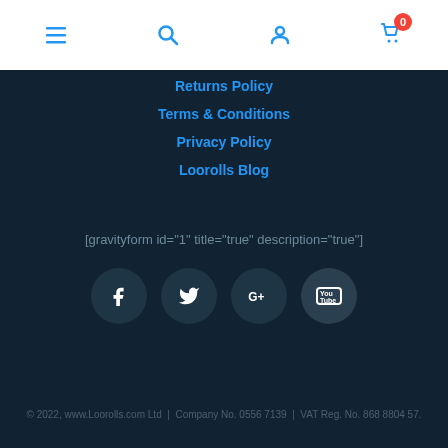[Figure (screenshot): Website header navigation bar with hamburger menu, search icon, user account icon, and shopping cart icon with badge showing 0]
Returns Policy
Terms & Conditions
Privacy Policy
Loorolls Blog
[gravityform id="1" title="true" description="true"]
[Figure (infographic): Four circular social media icons: Facebook (f), Twitter (bird), Google+ (G+), YouTube]
© 2022, www.Loorolls.com Ltd   |   Company No. 0556 7139   |   VAT Reg. No. 868 8804 57.